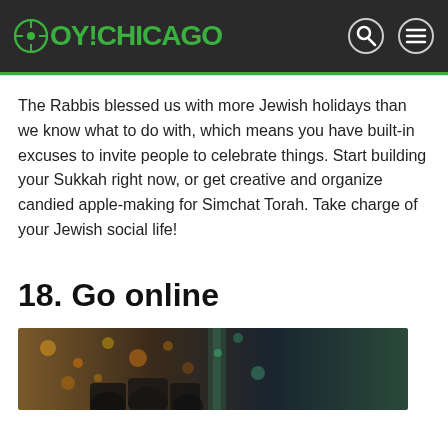OY!CHICAGO
The Rabbis blessed us with more Jewish holidays than we know what to do with, which means you have built-in excuses to invite people to celebrate things. Start building your Sukkah right now, or get creative and organize candied apple-making for Simchat Torah. Take charge of your Jewish social life!
18. Go online
[Figure (photo): Photo of people at what appears to be a nightclub or event venue with colorful lights in background]